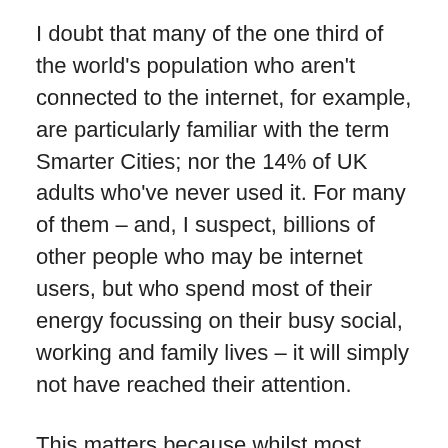I doubt that many of the one third of the world's population who aren't connected to the internet, for example, are particularly familiar with the term Smarter Cities; nor the 14% of UK adults who've never used it. For many of them – and, I suspect, billions of other people who may be internet users, but who spend most of their energy focussing on their busy social, working and family lives – it will simply not have reached their attention.
This matters because whilst most people do not spend their time considering the ideas we discuss in the world of Smarter Cities, most of them nevertheless use city systems and technology.
As most people reading this blog will know, according to sources including the World Health Organisation, more than half of the world's population now lives in urban